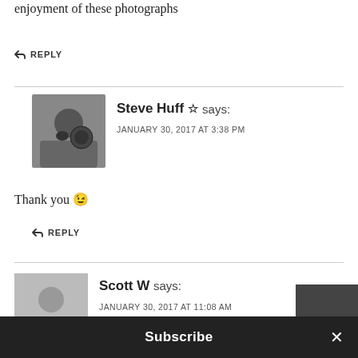enjoyment of these photographs
↩ REPLY
Steve Huff ☆ says:
JANUARY 30, 2017 AT 3:38 PM
Thank you 😉
↩ REPLY
Scott W says:
JANUARY 30, 2017 AT 11:08 AM
Subscribe